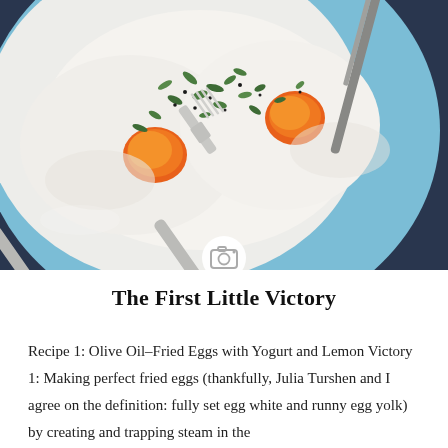[Figure (photo): Overhead photo of fried eggs garnished with chopped herbs and black pepper on a light blue plate, with a fork resting on the plate, set on a dark navy blue denim-like surface. A camera icon appears at the bottom center of the image area.]
The First Little Victory
Recipe 1: Olive Oil–Fried Eggs with Yogurt and Lemon Victory 1: Making perfect fried eggs (thankfully, Julia Turshen and I agree on the definition: fully set egg white and runny egg yolk) by creating and trapping steam in the